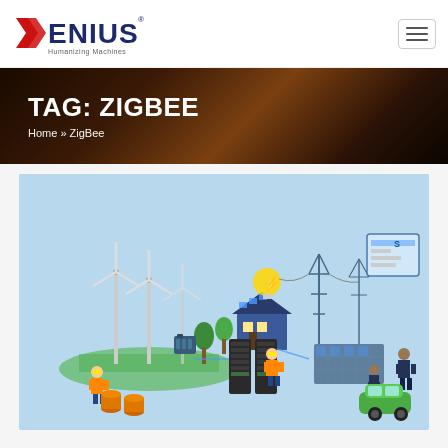Xenius — Humanizing Machines (navigation bar with hamburger menu)
TAG: ZIGBEE
Home » ZigBee
[Figure (illustration): Isometric smart grid / smart energy illustration showing wind turbines, a house with solar panels, electric power transmission towers, data server racks, solar panel arrays, workers, and a green electric vehicle on a light blue background]